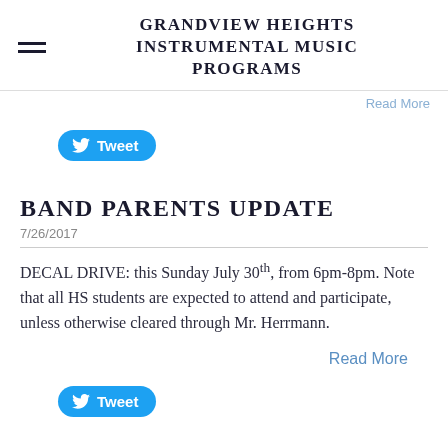GRANDVIEW HEIGHTS INSTRUMENTAL MUSIC PROGRAMS
[Figure (other): Twitter Tweet button (blue rounded rectangle with bird icon and 'Tweet' text)]
BAND PARENTS UPDATE
7/26/2017
DECAL DRIVE: this Sunday July 30th, from 6pm-8pm. Note that all HS students are expected to attend and participate, unless otherwise cleared through Mr. Herrmann.
Read More
[Figure (other): Twitter Tweet button (blue rounded rectangle with bird icon and 'Tweet' text)]
BAND DIRECTOR'S UPDATE